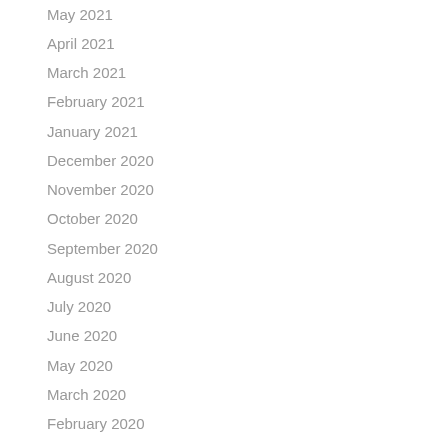May 2021
April 2021
March 2021
February 2021
January 2021
December 2020
November 2020
October 2020
September 2020
August 2020
July 2020
June 2020
May 2020
March 2020
February 2020